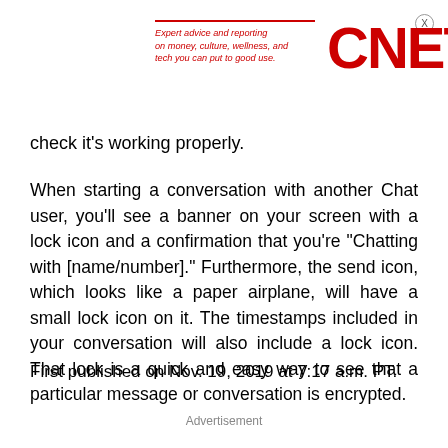Expert advice and reporting on money, culture, wellness, and tech you can put to good use. CNET
check it's working properly.
When starting a conversation with another Chat user, you'll see a banner on your screen with a lock icon and a confirmation that you're "Chatting with [name/number]." Furthermore, the send icon, which looks like a paper airplane, will have a small lock icon on it. The timestamps included in your conversation will also include a lock icon. That lock is a quick and easy way to see that a particular message or conversation is encrypted.
First published on Nov. 19, 2019 at 7:17 a.m. PT.
Advertisement